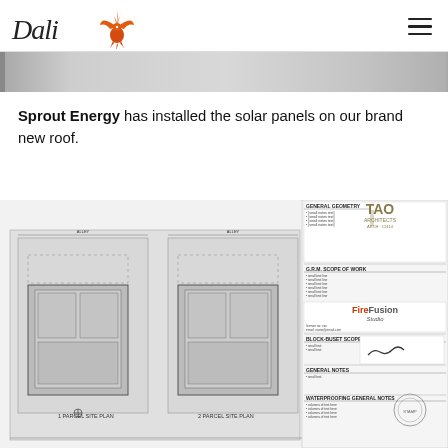Dali / FireFusion Studio logo and navigation
[Figure (photo): Partial view of a roof or construction site, gray tones, cropped horizontal strip]
Sprout Energy has installed the solar panels on our brand new roof.
[Figure (engineering-diagram): Architectural/engineering site plan drawings showing two parcel site plans with notations, general notes, and title block with TAO Architects and FireFusion Studio branding]